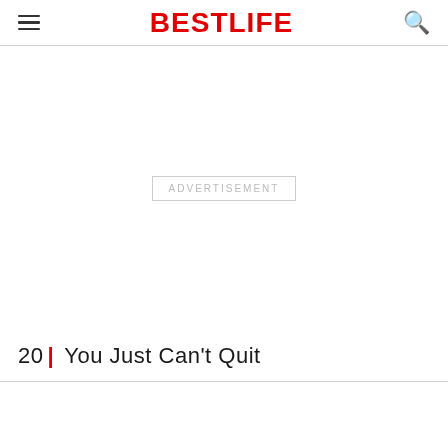BestLife
[Figure (other): Advertisement placeholder box with text ADVERTISEMENT]
20 | You Just Can't Quit